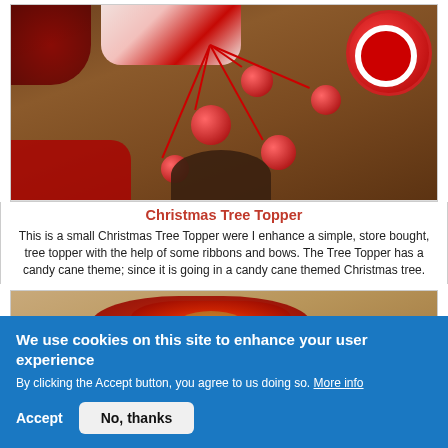[Figure (photo): Overhead view of Christmas ornaments, red glitter balls on sticks, red ribbon spool, and Christmas fabric on a wooden table surface]
Christmas Tree Topper
This is a small Christmas Tree Topper were I enhance a simple, store bought, tree topper with the help of some ribbons and bows. The Tree Topper has a candy cane theme; since it is going in a candy cane themed Christmas tree.
[Figure (photo): Close-up photo of red and gold Christmas decorations on a wooden surface]
We use cookies on this site to enhance your user experience
By clicking the Accept button, you agree to us doing so. More info